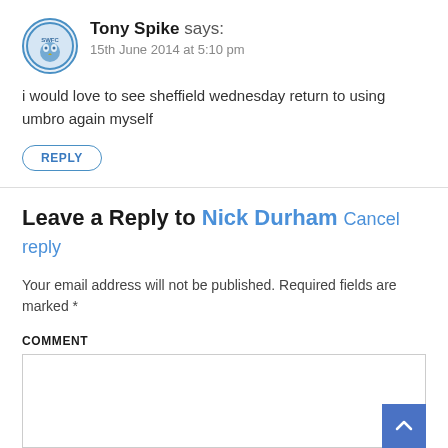[Figure (illustration): Circular avatar/logo with blue border showing a stylized bird or owl figure with 'SWFC' text]
Tony Spike says:
15th June 2014 at 5:10 pm
i would love to see sheffield wednesday return to using umbro again myself
REPLY
Leave a Reply to Nick Durham Cancel reply
Your email address will not be published. Required fields are marked *
COMMENT